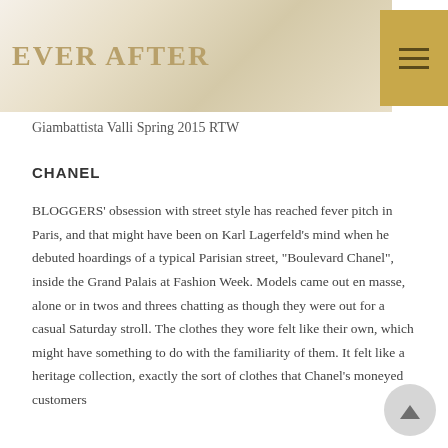EVER AFTER
Giambattista Valli Spring 2015 RTW
CHANEL
BLOGGERS' obsession with street style has reached fever pitch in Paris, and that might have been on Karl Lagerfeld's mind when he debuted hoardings of a typical Parisian street, "Boulevard Chanel", inside the Grand Palais at Fashion Week. Models came out en masse, alone or in twos and threes chatting as though they were out for a casual Saturday stroll. The clothes they wore felt like their own, which might have something to do with the familiarity of them. It felt like a heritage collection, exactly the sort of clothes that Chanel's moneyed customers